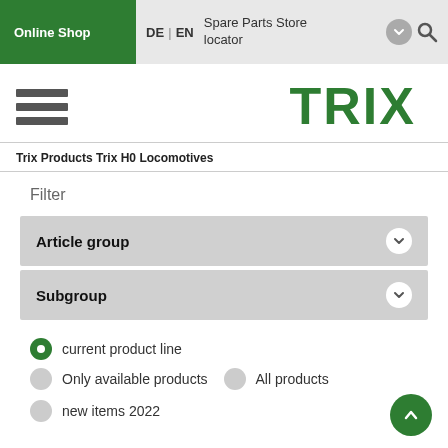Online Shop  DE | EN  Spare Parts Store locator
[Figure (logo): Hamburger menu icon (three horizontal bars) on the left, TRIX logo in green on the right]
Trix Products Trix H0 Locomotives
Filter
Article group
Subgroup
current product line
Only available products
All products
new items 2022